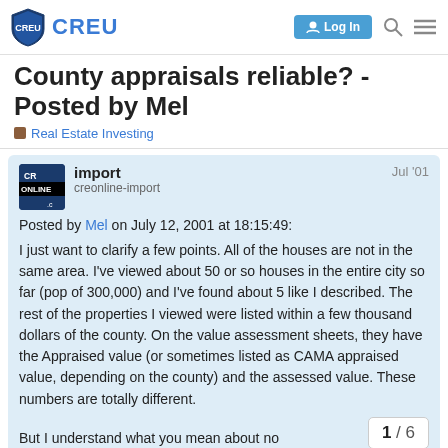CREU | Log In
County appraisals reliable? - Posted by Mel
Real Estate Investing
import
creonline-import
Jul '01
Posted by Mel on July 12, 2001 at 18:15:49:

I just want to clarify a few points. All of the houses are not in the same area. I've viewed about 50 or so houses in the entire city so far (pop of 300,000) and I've found about 5 like I described. The rest of the properties I viewed were listed within a few thousand dollars of the county. On the value assessment sheets, they have the Appraised value (or sometimes listed as CAMA appraised value, depending on the county) and the assessed value. These numbers are totally different.

But I understand what you mean about no...